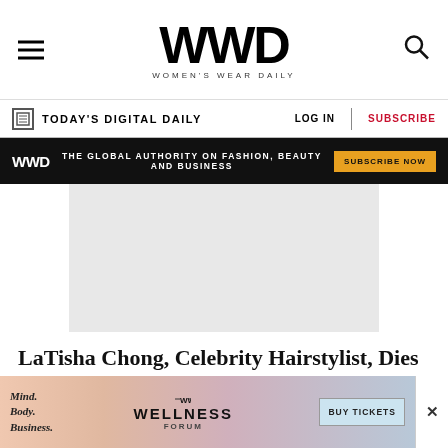WWD — Women's Wear Daily
TODAY'S DIGITAL DAILY | LOG IN | SUBSCRIBE
WWD — THE GLOBAL AUTHORITY ON FASHION, BEAUTY AND BUSINESS — SUBSCRIBE NOW
[Figure (photo): Article hero image placeholder (grey rectangle)]
LaTisha Chong, Celebrity Hairstylist, Dies at 32
13 New TV Shows to Watch in August 2024
[Figure (photo): Thumbnail for related article about TV shows]
Mind. Body. Business. — WWD WELLNESS FORUM — BUY TICKETS